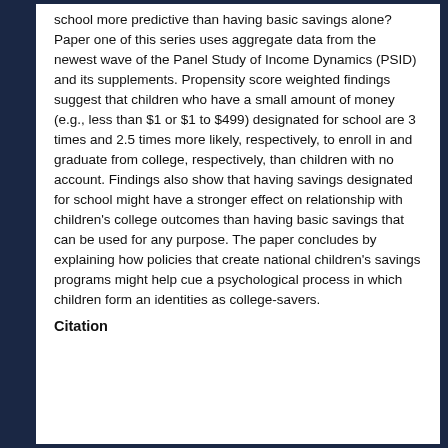school more predictive than having basic savings alone? Paper one of this series uses aggregate data from the newest wave of the Panel Study of Income Dynamics (PSID) and its supplements. Propensity score weighted findings suggest that children who have a small amount of money (e.g., less than $1 or $1 to $499) designated for school are 3 times and 2.5 times more likely, respectively, to enroll in and graduate from college, respectively, than children with no account. Findings also show that having savings designated for school might have a stronger effect on relationship with children's college outcomes than having basic savings that can be used for any purpose. The paper concludes by explaining how policies that create national children's savings programs might help cue a psychological process in which children form an identities as college-savers.
Citation